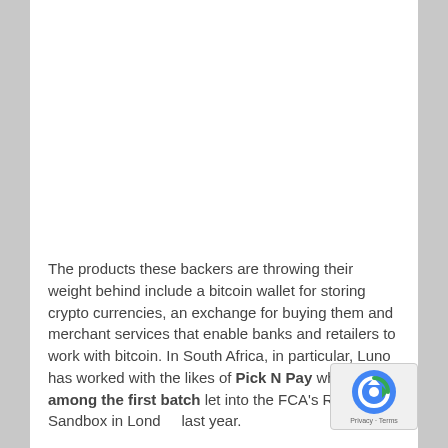The products these backers are throwing their weight behind include a bitcoin wallet for storing crypto currencies, an exchange for buying them and merchant services that enable banks and retailers to work with bitcoin. In South Africa, in particular, Luno has worked with the likes of Pick N Pay while it was among the first batch let into the FCA's Regulatory Sandbox in London last year.